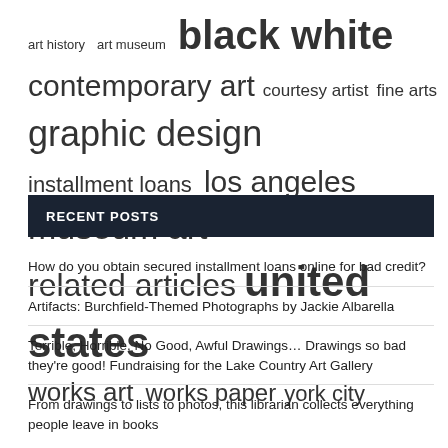art history  art museum  black white  contemporary art  courtesy artist  fine arts  graphic design  installment loans  los angeles  museum art  related articles  united states  works art  works paper  york city
RECENT POSTS
How do you obtain secured installment loans online for bad credit?
Artifacts: Burchfield-Themed Photographs by Jackie Albarella
Terrible, Horrible, No Good, Awful Drawings… Drawings so bad they're good! Fundraising for the Lake Country Art Gallery
From drawings to lists to photos, this librarian collects everything people leave in books